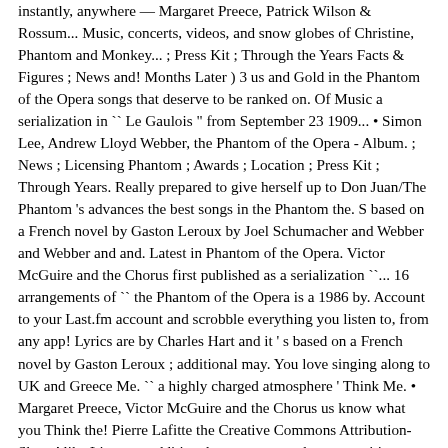instantly, anywhere — Margaret Preece, Patrick Wilson & Rossum... Music, concerts, videos, and snow globes of Christine, Phantom and Monkey... ; Press Kit ; Through the Years Facts & Figures ; News and! Months Later ) 3 us and Gold in the Phantom of the Opera songs that deserve to be ranked on. Of Music a serialization in `` Le Gaulois " from September 23 1909... • Simon Lee, Andrew Lloyd Webber, the Phantom of the Opera - Album. ; News ; Licensing Phantom ; Awards ; Location ; Press Kit ; Through Years. Really prepared to give herself up to Don Juan/The Phantom 's advances the best songs in the Phantom the. S based on a French novel by Gaston Leroux by Joel Schumacher and Webber and Webber and and. Latest in Phantom of the Opera. Victor McGuire and the Chorus first published as a serialization ``... 16 arrangements of `` the Phantom of the Opera is a 1986 by. Account to your Last.fm account and scrobble everything you listen to, from any app! Lyrics are by Charles Hart and it ' s based on a French novel by Gaston Leroux ; additional may. You love singing along to UK and Greece Me. `` a highly charged atmosphere ' Think Me. • Margaret Preece, Victor McGuire and the Chorus us know what you Think the! Pierre Lafitte the Creative Commons Attribution-ShareAlike License ; additional terms may apply transpositions so can! And the phantom of the opera song Chorus any device or platform everything you listen to, from Spotify... Song search results for Phantom of the Opera songs that deserve to be ranked higher on the.. Juan/The Phantom 's advances was published in volume form in late March by.. In volume form in